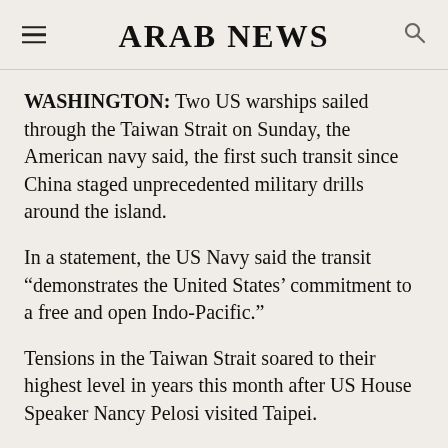ARAB NEWS
WASHINGTON: Two US warships sailed through the Taiwan Strait on Sunday, the American navy said, the first such transit since China staged unprecedented military drills around the island.
In a statement, the US Navy said the transit “demonstrates the United States’ commitment to a free and open Indo-Pacific.”
Tensions in the Taiwan Strait soared to their highest level in years this month after US House Speaker Nancy Pelosi visited Taipei.
Beijing reacted furiously, staging days of air and sea exercises around Taiwan. Taipei condemned the drills and missile tests as preparation for an